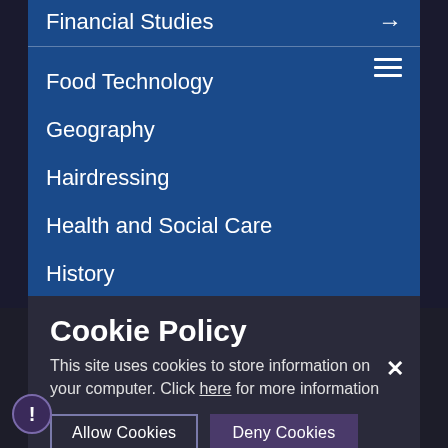Financial Studies →
Food Technology
Geography
Hairdressing
Health and Social Care
History
Mathematics
Modern Foreign Languages
Music
Physical Education
Psychology
Religious Studies
Cookie Policy
This site uses cookies to store information on your computer. Click here for more information
Allow Cookies
Deny Cookies